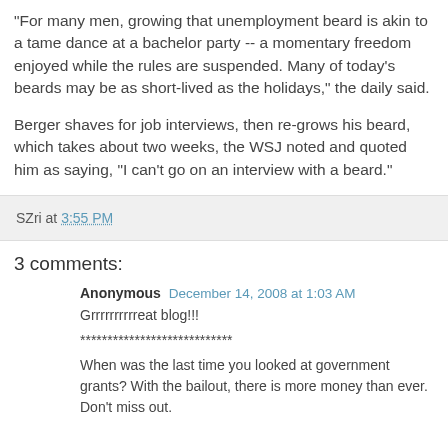"For many men, growing that unemployment beard is akin to a tame dance at a bachelor party -- a momentary freedom enjoyed while the rules are suspended. Many of today's beards may be as short-lived as the holidays," the daily said.
Berger shaves for job interviews, then re-grows his beard, which takes about two weeks, the WSJ noted and quoted him as saying, "I can't go on an interview with a beard."
SZri at 3:55 PM
3 comments:
Anonymous  December 14, 2008 at 1:03 AM
Grrrrrrrrrreat blog!!!
****************************
When was the last time you looked at government grants? With the bailout, there is more money than ever. Don't miss out.